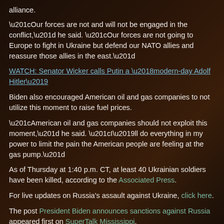alliance.
“Our forces are not and will not be engaged in the conflict,” he said. “Our forces are not going to Europe to fight in Ukraine but defend our NATO allies and reassure those allies in the east.”
WATCH: Senator Wicker calls Putin a ‘modern-day Adolf Hitler’
Biden also encouraged American oil and gas companies to not utilize this moment to raise fuel prices.
“American oil and gas companies should not exploit this moment,” he said. “I’ll do everything in my power to limit the pain the American people are feeling at the gas pump.”
As of Thursday at 1:40 p.m. CT, at least 40 Ukrainian soldiers have been killed, according to the Associated Press.
For live updates on Russia’s assault against Ukraine, click here.
The post President Biden announces sanctions against Russia appeared first on SuperTalk Mississippi.
#mississippi-news